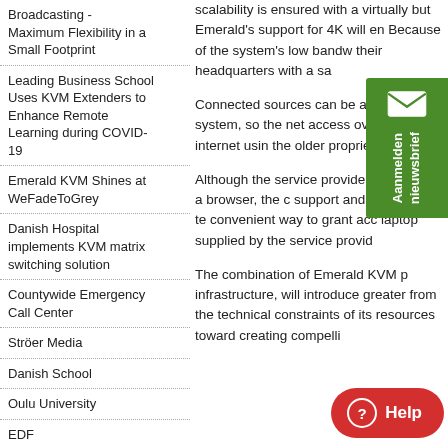Broadcasting - Maximum Flexibility in a Small Footprint
Leading Business School Uses KVM Extenders to Enhance Remote Learning during COVID-19
Emerald KVM Shines at WeFadeToGrey
Danish Hospital implements KVM matrix switching solution
Countywide Emergency Call Center
Ströer Media
Danish School
Oulu University
EDF
Chichester College
Washington D.C. Metropolitan Area Transit Authority
scalability is ensured with a virtually but Emerald's support for 4K will en Because of the system's low bandw their headquarters with a sa
Connected sources can be a the KVM system, so the net access over the internet usin the older proprietary KVM m
Although the service provide Boxilla from a browser, the c support and maintenance te convenient way to grant acc laptop supplied by the service provid
The combination of Emerald KVM p infrastructure, will introduce greater from the technical constraints of its resources toward creating compelli